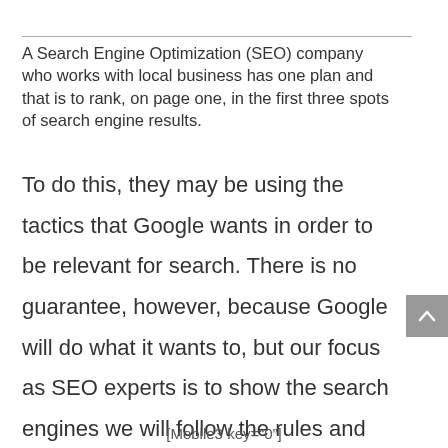A Search Engine Optimization (SEO) company who works with local business has one plan and that is to rank, on page one, in the first three spots of search engine results.
To do this, they may be using the tactics that Google wants in order to be relevant for search. There is no guarantee, however, because Google will do what it wants to, but our focus as SEO experts is to show the search engines we will follow the rules and have a site to be included in the search results.
[Mobile3 key="0"]